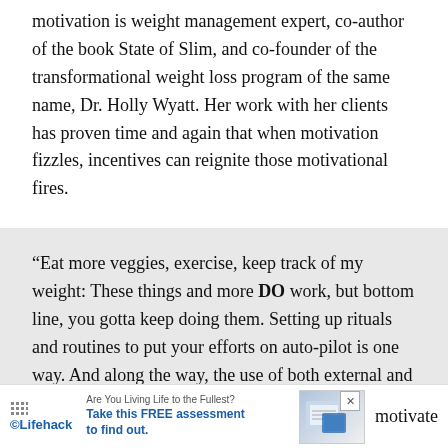motivation is weight management expert, co-author of the book State of Slim, and co-founder of the transformational weight loss program of the same name, Dr. Holly Wyatt. Her work with her clients has proven time and again that when motivation fizzles, incentives can reignite those motivational fires.
“Eat more veggies, exercise, keep track of my weight: These things and more DO work, but bottom line, you gotta keep doing them. Setting up rituals and routines to put your efforts on auto-pilot is one way. And along the way, the use of both external and internal motivators helps keep people on track. External motivation sources are those [that] motivate [people to keep] on a
[Figure (infographic): Lifehack advertisement banner at the bottom: Are You Living Life to the Fullest? Take this FREE assessment to find out. With a decorative image of papers/charts and a close button.]